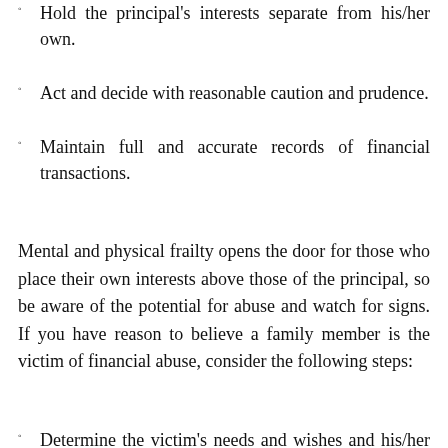Hold the principal's interests separate from his/her own.
Act and decide with reasonable caution and prudence.
Maintain full and accurate records of financial transactions.
Mental and physical frailty opens the door for those who place their own interests above those of the principal, so be aware of the potential for abuse and watch for signs. If you have reason to believe a family member is the victim of financial abuse, consider the following steps:
Determine the victim's needs and wishes and his/her competency in continuing the relationship with the power of